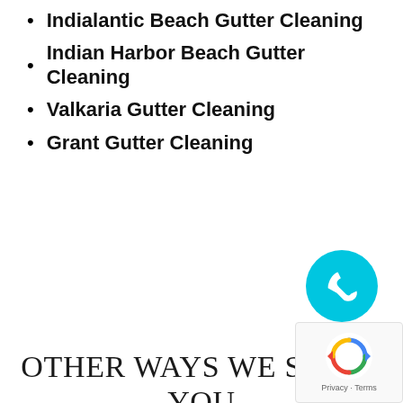Indialantic Beach Gutter Cleaning
Indian Harbor Beach Gutter Cleaning
Valkaria Gutter Cleaning
Grant Gutter Cleaning
[Figure (illustration): Cyan/turquoise circular phone call button with white telephone handset icon]
OTHER WAYS WE SERVE YOU
[Figure (logo): Google reCAPTCHA widget with spinning arrows logo and Privacy - Terms text]